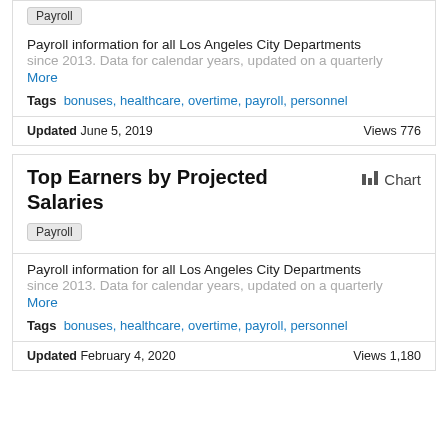Payroll
Payroll information for all Los Angeles City Departments since 2013. Data for calendar years, updated on a quarterly More
Tags  bonuses, healthcare, overtime, payroll, personnel
Updated June 5, 2019   Views 776
Top Earners by Projected Salaries
Chart
Payroll
Payroll information for all Los Angeles City Departments since 2013. Data for calendar years, updated on a quarterly More
Tags  bonuses, healthcare, overtime, payroll, personnel
Updated February 4, 2020   Views 1,180